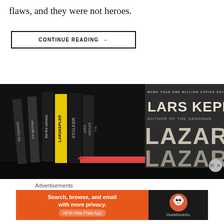flaws, and they were not heroes.
CONTINUE READING →
[Figure (photo): A bookshelf photo showing multiple Lars Kepler novels including The Hypnotist, The Nightmare, The Fire Witness, Stalker, and Lazarus with spines visible. The front cover of Lazarus is prominently displayed on the right side showing 'MORE THAN ONE MILLION COPIES SOLD WORLDWIDE', 'LARS KEPLER', 'AUTHOR OF THE SANDMAN', 'LAZARUS'.]
Advertisements
[Figure (screenshot): DuckDuckGo advertisement banner: 'Search, browse, and email with more privacy. All in One Free App' with DuckDuckGo logo on dark right panel.]